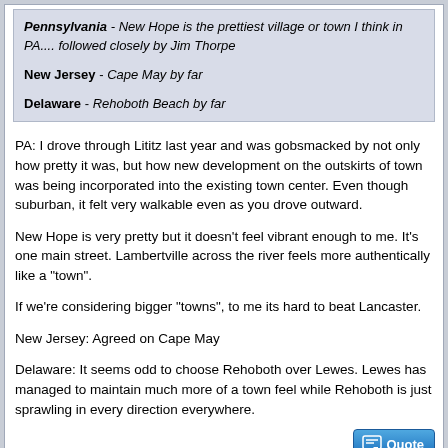Pennsylvania - New Hope is the prettiest village or town I think in PA.... followed closely by Jim Thorpe
New Jersey - Cape May by far
Delaware - Rehoboth Beach by far
PA: I drove through Lititz last year and was gobsmacked by not only how pretty it was, but how new development on the outskirts of town was being incorporated into the existing town center. Even though suburban, it felt very walkable even as you drove outward.
New Hope is very pretty but it doesn't feel vibrant enough to me. It's one main street. Lambertville across the river feels more authentically like a "town".
If we're considering bigger "towns", to me its hard to beat Lancaster.
New Jersey: Agreed on Cape May
Delaware: It seems odd to choose Rehoboth over Lewes. Lewes has managed to maintain much more of a town feel while Rehoboth is just sprawling in every direction everywhere.
Posted Jan 20, 2022, 3:20 AM #37